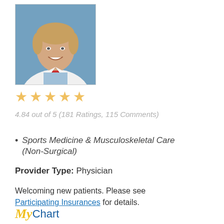[Figure (photo): Professional headshot of a male physician in white coat with tie, blue background]
★★★★★ (5 gold stars rating display)
4.84 out of 5 (181 Ratings, 115 Comments)
Sports Medicine & Musculoskeletal Care (Non-Surgical)
Provider Type: Physician
Welcoming new patients. Please see Participating Insurances for details.
[Figure (logo): MyChart logo with 'My' in italic yellow and 'Chart' in blue]